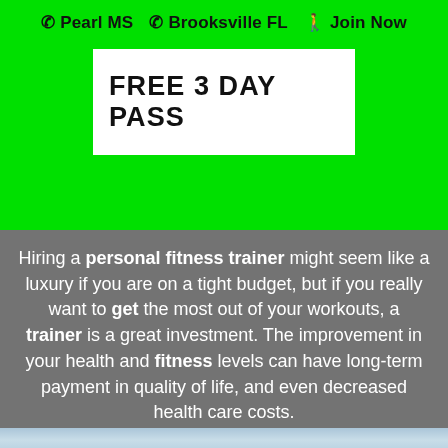☎ Pearl MS  ☎ Brooksville FL  🚶 Join Now
FREE 3 DAY PASS
Hiring a personal fitness trainer might seem like a luxury if you are on a tight budget, but if you really want to get the most out of your workouts, a trainer is a great investment. The improvement in your health and fitness levels can have long-term payment in quality of life, and even decreased health care costs.
[Figure (photo): Bottom portion of a photo showing a gym interior with light blue/white background, partially visible equipment at the very bottom of the page.]